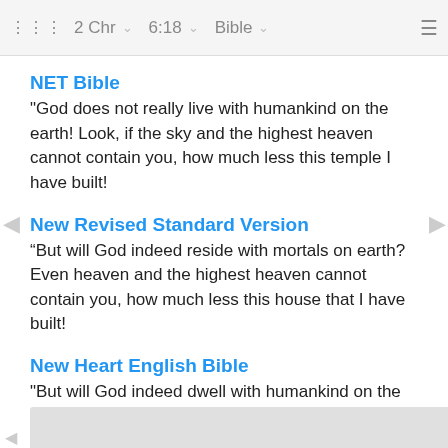2 Chr  6:18  Bible
NET Bible
"God does not really live with humankind on the earth! Look, if the sky and the highest heaven cannot contain you, how much less this temple I have built!
New Revised Standard Version
“But will God indeed reside with mortals on earth? Even heaven and the highest heaven cannot contain you, how much less this house that I have built!
New Heart English Bible
"But will God indeed dwell with humankind on the earth? Look, heaven and the highest heaven can't contain you, how much less this house that I have built.